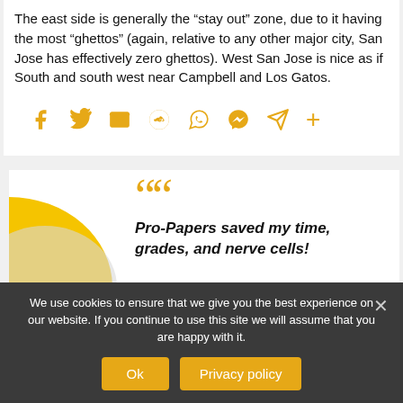The east side is generally the “stay out” zone, due to it having the most “ghettos” (again, relative to any other major city, San Jose has effectively zero ghettos). West San Jose is nice as if South and south west near Campbell and Los Gatos.
[Figure (infographic): Row of social share icons in orange/amber: Facebook, Twitter, Email, Reddit, WhatsApp, Messenger, Telegram, Plus]
[Figure (infographic): Promotional testimonial box with large orange quotation marks, yellow semicircle shape on the left, italic bold text reading: Pro-Papers saved my time, grades, and nerve cells!]
We use cookies to ensure that we give you the best experience on our website. If you continue to use this site we will assume that you are happy with it.